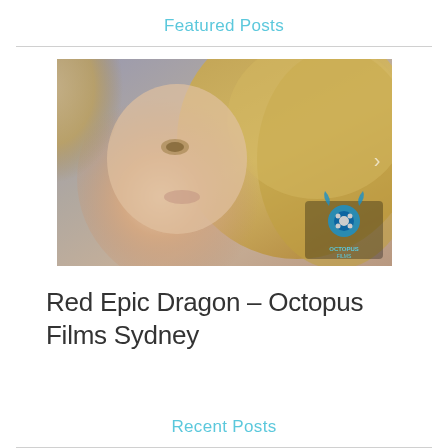Featured Posts
[Figure (photo): Close-up photo of a woman with blonde hair and light eyes, smiling softly. An Octopus Films logo watermark appears in the bottom right corner.]
Red Epic Dragon - Octopus Films Sydney
Recent Posts